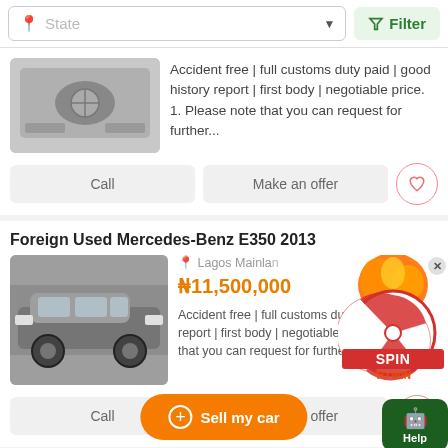State  Filter
Accident free | full customs duty paid | good history report | first body | negotiable price. 1. Please note that you can request for further...
Call   Make an offer
Foreign Used Mercedes-Benz E350 2013
Lagos Mainlan
₦11,500,000
Accident free | full customs duty paid | history report | first body | negotiable p... Please note that you can request for further...
Call   Make an offer
Foreign Used Mercedes-B
+ Sell my car